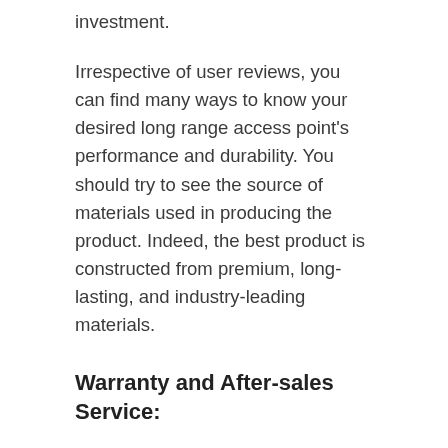investment.
Irrespective of user reviews, you can find many ways to know your desired long range access point's performance and durability. You should try to see the source of materials used in producing the product. Indeed, the best product is constructed from premium, long-lasting, and industry-leading materials.
Warranty and After-sales Service:
Warranty and after-sales service are very much helpful during any emergencies. We suggest you read the terms and conditions of serving the manufacturer or the seller after and before the